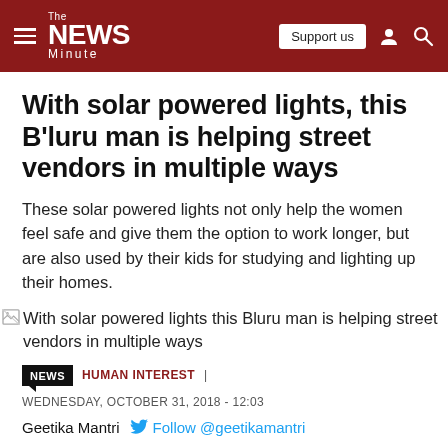The NEWS Minute — Support us
With solar powered lights, this B'luru man is helping street vendors in multiple ways
These solar powered lights not only help the women feel safe and give them the option to work longer, but are also used by their kids for studying and lighting up their homes.
[Figure (photo): Broken image placeholder: With solar powered lights this Bluru man is helping street vendors in multiple ways]
NEWS  HUMAN INTEREST | WEDNESDAY, OCTOBER 31, 2018 - 12:03
Geetika Mantri  Follow @geetikamantri